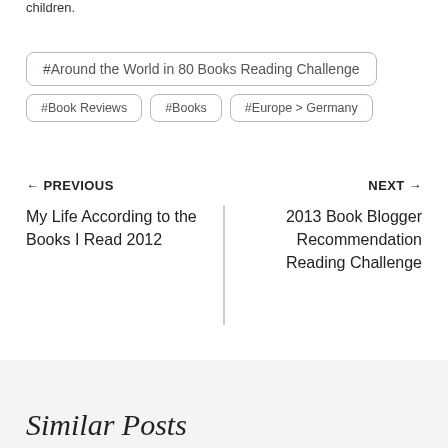children.
#Around the World in 80 Books Reading Challenge
#Book Reviews
#Books
#Europe > Germany
← PREVIOUS
My Life According to the Books I Read 2012
NEXT →
2013 Book Blogger Recommendation Reading Challenge
Similar Posts